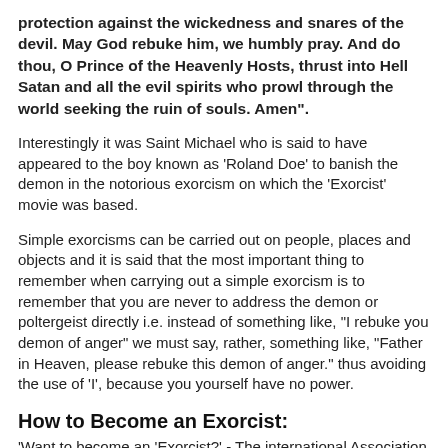protection against the wickedness and snares of the devil. May God rebuke him, we humbly pray. And do thou, O Prince of the Heavenly Hosts, thrust into Hell Satan and all the evil spirits who prowl through the world seeking the ruin of souls. Amen".
Interestingly it was Saint Michael who is said to have appeared to the boy known as 'Roland Doe' to banish the demon in the notorious exorcism on which the 'Exorcist' movie was based.
Simple exorcisms can be carried out on people, places and objects and it is said that the most important thing to remember when carrying out a simple exorcism is to remember that you are never to address the demon or poltergeist directly i.e. instead of something like, "I rebuke you demon of anger" we must say, rather, something like, "Father in Heaven, please rebuke this demon of anger." thus avoiding the use of 'I', because you yourself have no power.
How to Become an Exorcist:
'Want to become an 'Exorcist?' - The international Association of Exorcists...